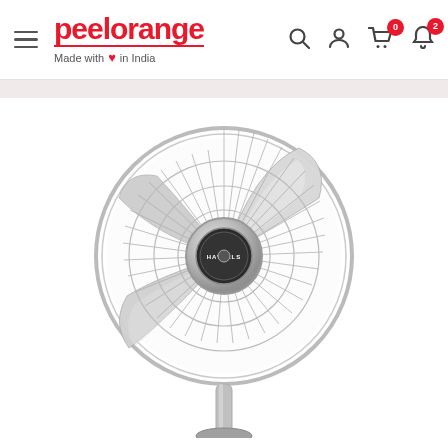peelorange — Made with love in India — navigation header with search, user, cart (0), bell (2) icons
[Figure (photo): A Havells branded metal pedestal fan with chrome finish, three blades visible behind a circular wire guard/grille, mounted on a stand. Close-up frontal view on white background.]